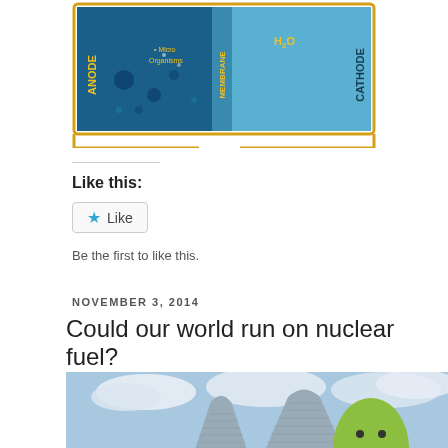[Figure (schematic): Microbial fuel cell diagram showing Anode, Micro Organisms, Membrane, H2O, and Cathode sections in blue tones with yellow border circuit lines]
Like this:
[Figure (other): WordPress-style Like button with a blue star icon and the word Like]
Be the first to like this.
NOVEMBER 3, 2014
Could our world run on nuclear fuel?
[Figure (photo): Photo of nuclear power plant cooling towers against a cloudy sky, with a cartoon smiley face character in the foreground]